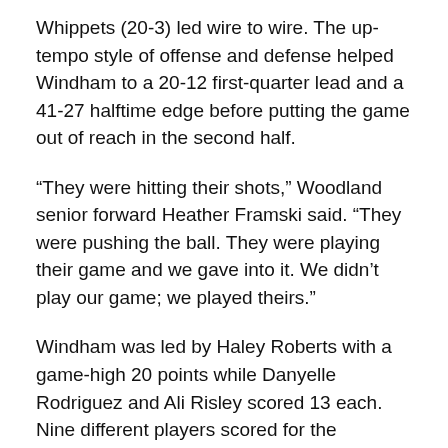Whippets (20-3) led wire to wire. The up-tempo style of offense and defense helped Windham to a 20-12 first-quarter lead and a 41-27 halftime edge before putting the game out of reach in the second half.
“They were hitting their shots,” Woodland senior forward Heather Framski said. “They were pushing the ball. They were playing their game and we gave into it. We didn’t play our game; we played theirs.”
Windham was led by Haley Roberts with a game-high 20 points while Danyelle Rodriguez and Ali Risley scored 13 each. Nine different players scored for the Whippets, who defeated No. 6 Tolland, 67-64, in overtime Monday to advance to this weekend’s Class M championship against No. 21 Weaver.
“We all...